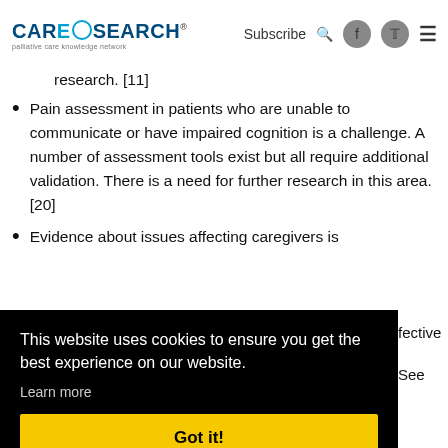CARESEARCH palliative care knowledge network | Subscribe [search] [facebook] [twitter] [menu]
research. [11]
Pain assessment in patients who are unable to communicate or have impaired cognition is a challenge. A number of assessment tools exist but all require additional validation. There is a need for further research in this area. [20]
Evidence about issues affecting caregivers is [...]fective [...] See
This website uses cookies to ensure you get the best experience on our website. Learn more
Got it!
Last updated 27 August 2021